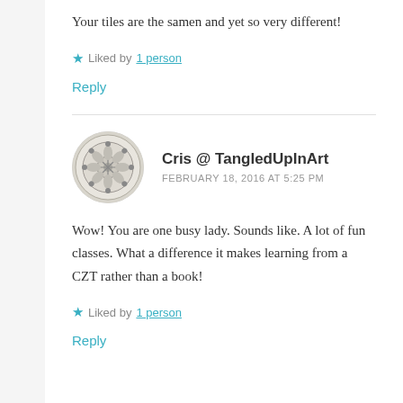Your tiles are the samen and yet so very different!
★ Liked by 1 person
Reply
Cris @ TangledUpInArt
FEBRUARY 18, 2016 AT 5:25 PM
Wow! You are one busy lady. Sounds like. A lot of fun classes. What a difference it makes learning from a CZT rather than a book!
★ Liked by 1 person
Reply